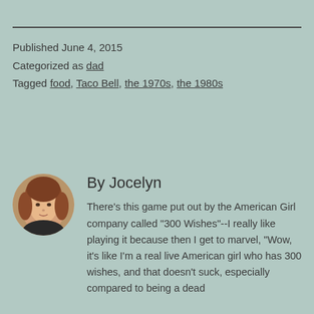Published June 4, 2015
Categorized as dad
Tagged food, Taco Bell, the 1970s, the 1980s
[Figure (photo): Circular profile photo of Jocelyn, a woman with reddish-brown hair]
By Jocelyn
There's this game put out by the American Girl company called "300 Wishes"--I really like playing it because then I get to marvel, "Wow, it's like I'm a real live American girl who has 300 wishes, and that doesn't suck, especially compared to being a dead